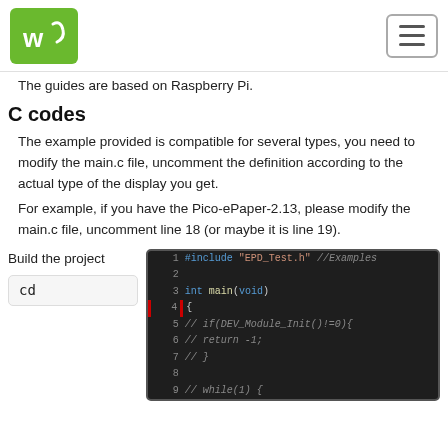Waveshare wiki — navigation header
The guides are based on Raspberry Pi.
C codes
The example provided is compatible for several types, you need to modify the main.c file, uncomment the definition according to the actual type of the display you get.
For example, if you have the Pico-ePaper-2.13, please modify the main.c file, uncomment line 18 (or maybe it is line 19).
Build the project
[Figure (screenshot): Code editor screenshot showing C code with #include "EPD_Test.h" //Examples, int main(void), { with red line indicator, commented lines // if(DEV_Module_Init()!=0){, // return -1;, // }, // while(1) {]
cd